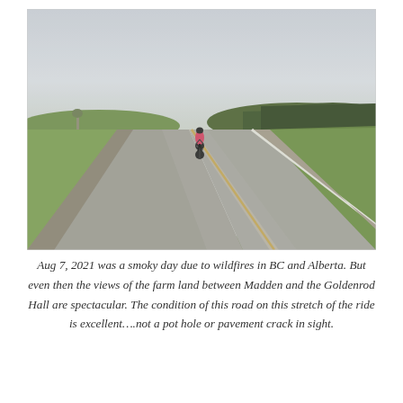[Figure (photo): A cyclist in a red/pink jersey riding alone on a straight two-lane rural highway surrounded by green farmland and trees under a hazy, overcast sky. The road stretches to the horizon with a yellow center line. Green grass and trees line both sides of the road.]
Aug 7, 2021 was a smoky day due to wildfires in BC and Alberta. But even then the views of the farm land between Madden and the Goldenrod Hall are spectacular. The condition of this road on this stretch of the ride is excellent….not a pot hole or pavement crack in sight.